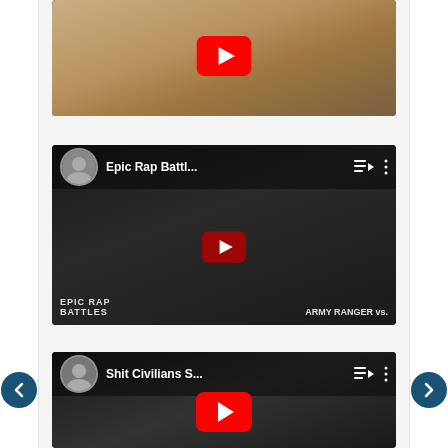[Figure (screenshot): YouTube video thumbnail 1 - military/soldier figure with YouTube play button overlay]
[Figure (screenshot): YouTube video embed - Epic Rap Battl... with channel avatar, playlist icon, menu icon, and red play button. Shows 'EPIC RAP BATTLES' and 'ARMY RANGER vs.' text on thumbnail]
[Figure (screenshot): YouTube video embed - Shit Civilians S... with channel avatar, playlist icon, menu icon, and red play button. Shows two people in thumbnail]